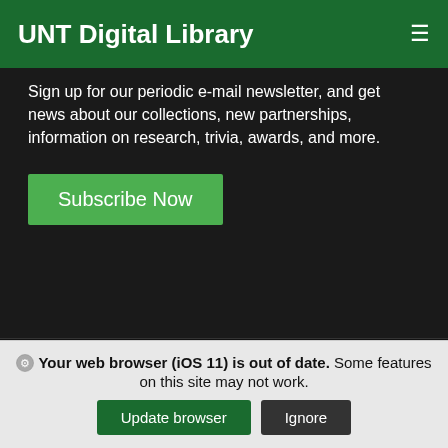UNT Digital Library
Sign up for our periodic e-mail newsletter, and get news about our collections, new partnerships, information on research, trivia, awards, and more.
Subscribe Now
UNT Libraries
Terms
Privacy
Your web browser (iOS 11) is out of date. Some features on this site may not work.